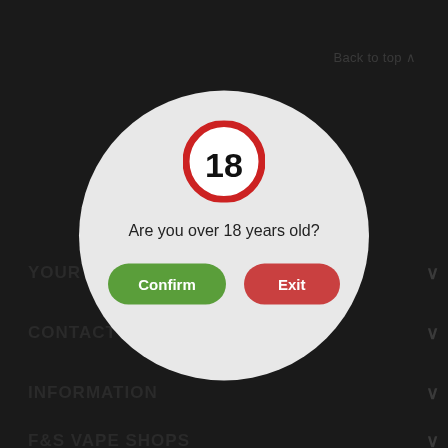Back to top
YOUR AC
CONTACT D...
INFORMATION
F&S VAPE SHOPS
[Figure (screenshot): Age verification modal overlay with circular shape on dark background. Contains an 18+ badge (red circle with 18 in black), text 'Are you over 18 years old?', a green 'Confirm' button and a red 'Exit' button.]